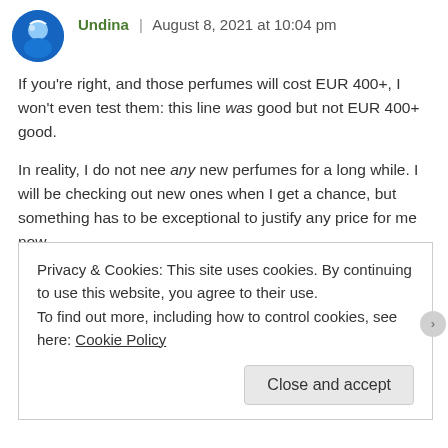[Figure (photo): Circular avatar image with blue background showing a cartoon/illustrated character]
Undina | August 8, 2021 at 10:04 pm
If you're right, and those perfumes will cost EUR 400+, I won't even test them: this line was good but not EUR 400+ good.
In reality, I do not nee any new perfumes for a long while. I will be checking out new ones when I get a chance, but something has to be exceptional to justify any price for me now.
★ Like
Reply
Privacy & Cookies: This site uses cookies. By continuing to use this website, you agree to their use.
To find out more, including how to control cookies, see here: Cookie Policy
Close and accept